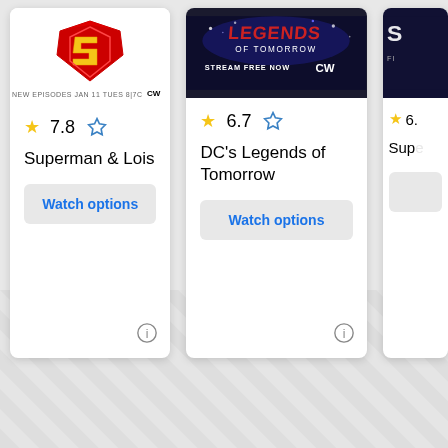[Figure (screenshot): Superman & Lois TV show card with Superman logo image, rating 7.8, star icons, title, and Watch options button]
[Figure (screenshot): DC's Legends of Tomorrow TV show card with show banner image, rating 6.7, star icons, title, and Watch options button]
[Figure (screenshot): Partially visible third TV show card with rating 6. and Watch options button cropped at right edge]